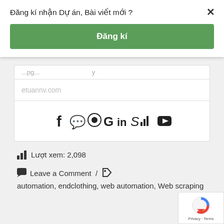Đăng kí nhận Dự án, Bài viết mới ?
Đăng kí
etuannv.com
[Figure (other): Social media icons row: Facebook, WhatsApp, GitHub, Google, LinkedIn, Skype, Stack Overflow, YouTube]
Lượt xem: 2,098
Leave a Comment / automation, endclothing, web automation, Web scraping
[Figure (other): reCAPTCHA badge with Google logo, Privacy and Terms text]